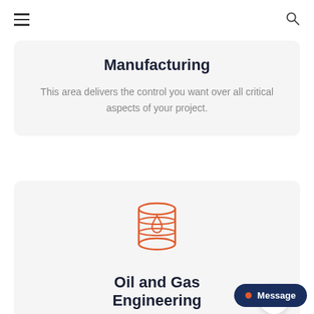Navigation header with hamburger menu and search icon
Manufacturing
This area delivers the control you want over all critical aspects of your project.
[Figure (illustration): Oil barrel icon with a water drop in orange outline style]
Oil and Gas Engineering
This area delivers the control